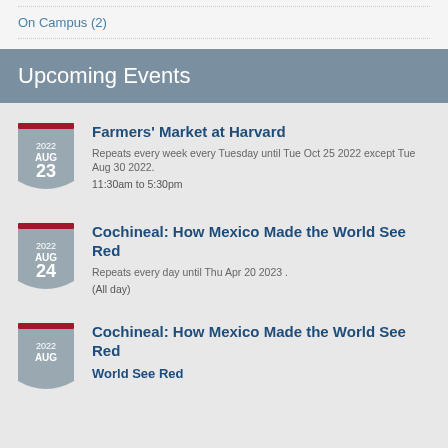On Campus (2)
Upcoming Events
Farmers' Market at Harvard
Repeats every week every Tuesday until Tue Oct 25 2022 except Tue Aug 30 2022.
11:30am to 5:30pm
Cochineal: How Mexico Made the World See Red
Repeats every day until Thu Apr 20 2023 .
(All day)
Cochineal: How Mexico Made the World See Red